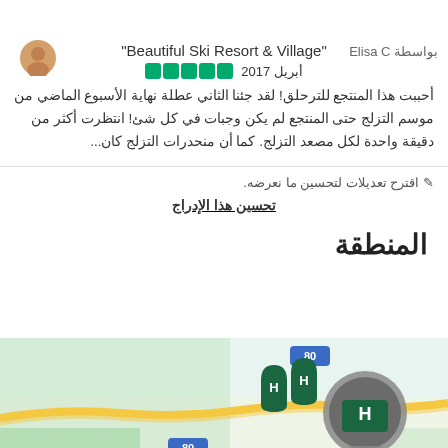"Beautiful Ski Resort & Village"
أبريل 2017 ●●●●●
أحببت هذا المنتجع للترحلق! لقد جئنا الثاني عطلة نهاية الأسبوع الماضي من موسم التزلج حتى المنتجع لم يكن وجبات في كل شئ! انتظرت أكثر من دقيقة واحدة لكل مصعد التزلج. كما أن منحدرات التزلج كان...
🖊 اقترح تعديلات لتحسين ما نعرضه.
تحسين هذا الإدراج
المنطقة
[Figure (map): Map showing Truckee area with Donner label on left, highway 80 markers, hotel pin markers, and a large circular location pin in the center-right area. Number 431 shown in bottom right.]